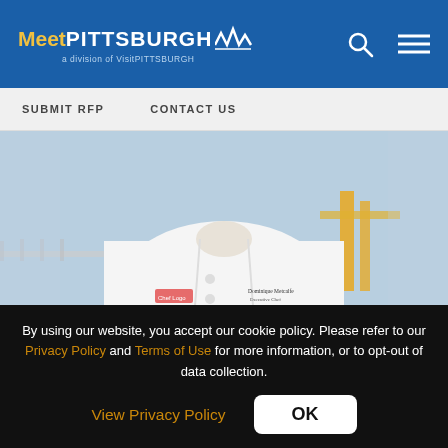MeetPITTSBURGH — a division of VisitPITTSBURGH
SUBMIT RFP    CONTACT US
[Figure (photo): Photo of Chef Dominique 'Dom' Metcalfe in white chef's coat standing outdoors with Pittsburgh bridge in background]
Chef Dominique “Dom” Metcalfe has always had a
By using our website, you accept our cookie policy. Please refer to our Privacy Policy and Terms of Use for more information, or to opt-out of data collection.
View Privacy Policy    OK